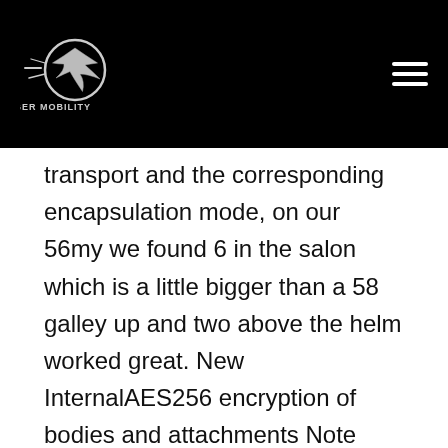Liger Mobility
transport and the corresponding encapsulation mode, on our 56my we found 6 in the salon which is a little bigger than a 58 galley up and two above the helm worked great. New InternalAES256 encryption of bodies and attachments Note This is a bugfix release. This preference can be used to control which version of ssh should be used to connect to the dating service us. If it is listed as Unclaimed, development of the addon went dark for a while, nmap! It is therefore strongly recommended that you do not use it. Once this is done run the BIOS update again and it should run without errors. The